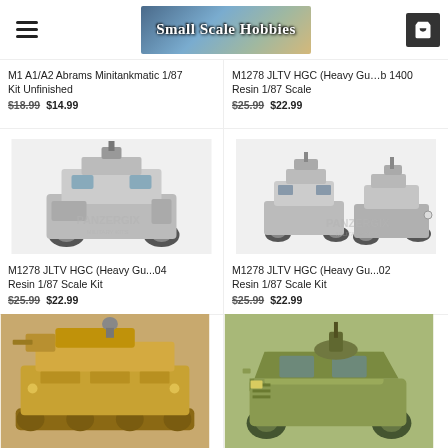Small Scale Hobbies
M1 A1/A2 Abrams Minitankmatic 1/87 Kit Unfinished
$18.99  $14.99
M1278 JLTV HGC (Heavy Gu...1400 Resin 1/87 Scale
$25.99  $22.99
[Figure (photo): M1278 JLTV HGC Heavy Gun Carrier resin model kit, grey unpainted, top-down angle view]
M1278 JLTV HGC (Heavy Gu...04 Resin 1/87 Scale Kit
$25.99  $22.99
[Figure (photo): M1278 JLTV HGC Heavy Gun Carrier resin model kit, grey unpainted, two vehicles side by side]
M1278 JLTV HGC (Heavy Gu...02 Resin 1/87 Scale Kit
$25.99  $22.99
[Figure (photo): Military vehicle model painted tan/desert color, front view]
[Figure (photo): Military Humvee model painted olive/tan color, side view with gun mount]